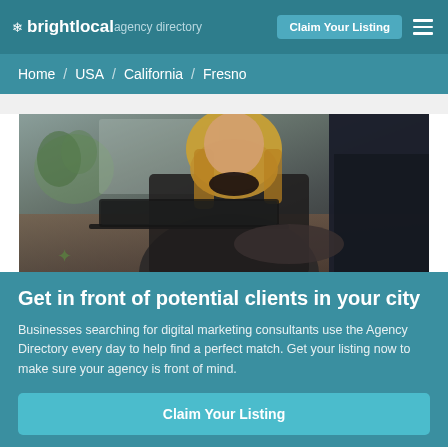brightlocal agency directory | Claim Your Listing
Home / USA / California / Fresno
[Figure (photo): Two professionals looking at a laptop computer in an office setting. A blonde woman in a dark blazer and a man in a navy suit are visible. There is a green plant in the background.]
Get in front of potential clients in your city
Businesses searching for digital marketing consultants use the Agency Directory every day to help find a perfect match. Get your listing now to make sure your agency is front of mind.
Claim Your Listing